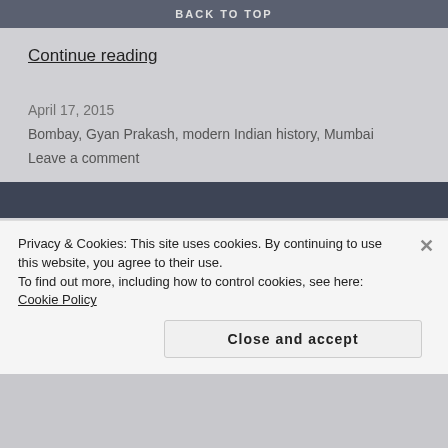BACK TO TOP
Continue reading
April 17, 2015
Bombay, Gyan Prakash, modern Indian history, Mumbai
Leave a comment
Prem Rao : Story Teller
A writer on writing; on the books he reads; on his own books (published and to be...
[Figure (photo): Circular avatar portrait of an elderly man with glasses]
Privacy & Cookies: This site uses cookies. By continuing to use this website, you agree to their use.
To find out more, including how to control cookies, see here: Cookie Policy
Close and accept